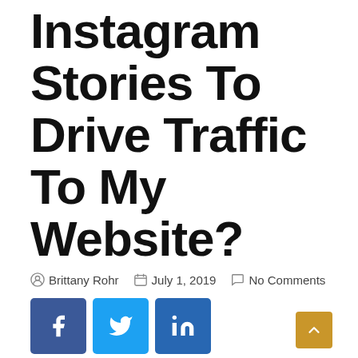How Do I Use Instagram Stories To Drive Traffic To My Website?
Brittany Rohr   July 1, 2019   No Comments
[Figure (infographic): Social share buttons: Facebook (dark blue), Twitter (light blue), LinkedIn (medium blue)]
How Can I Use Instagram Stories Call To Action?
As of now, Call To Action link is only available to business profiles (not personal profiles) that have